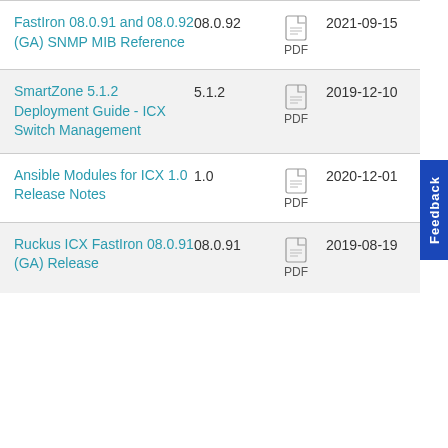| Title | Version | Format | Date |
| --- | --- | --- | --- |
| FastIron 08.0.91 and 08.0.92 (GA) SNMP MIB Reference | 08.0.92 | PDF | 2021-09-15 |
| SmartZone 5.1.2 Deployment Guide - ICX Switch Management | 5.1.2 | PDF | 2019-12-10 |
| Ansible Modules for ICX 1.0 Release Notes | 1.0 | PDF | 2020-12-01 |
| Ruckus ICX FastIron 08.0.91 (GA) Release | 08.0.91 | PDF | 2019-08-19 |